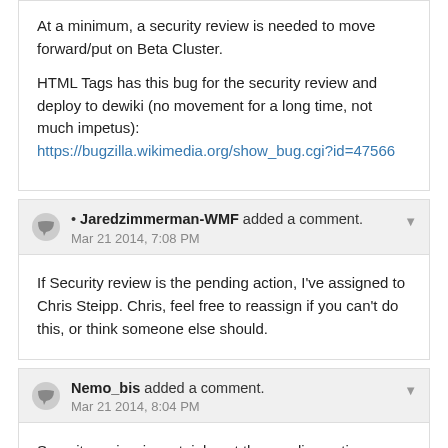At a minimum, a security review is needed to move forward/put on Beta Cluster.

HTML Tags has this bug for the security review and deploy to dewiki (no movement for a long time, not much impetus):
https://bugzilla.wikimedia.org/show_bug.cgi?id=47566
Jaredzimmerman-WMF added a comment. Mar 21 2014, 7:08 PM
If Security review is the pending action, I've assigned to Chris Steipp. Chris, feel free to reassign if you can't do this, or think someone else should.
Nemo_bis added a comment. Mar 21 2014, 8:04 PM
Security review is certainly not the pending action. There are 8 items before it and you still lack point 10 too:

(In reply to Greg Grossmeier from comment #30)